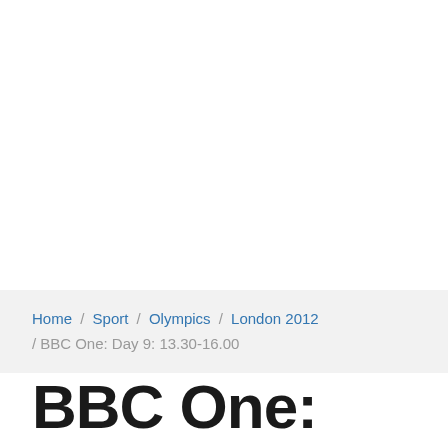Home / Sport / Olympics / London 2012 / BBC One: Day 9: 13.30-16.00
BBC One: Day 9: